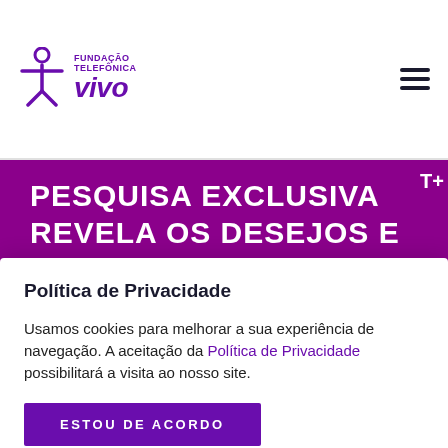[Figure (logo): Fundação Telefônica Vivo logo with purple figure icon and purple italic 'vivo' wordmark]
PESQUISA EXCLUSIVA REVELA OS DESEJOS E
Política de Privacidade
Usamos cookies para melhorar a sua experiência de navegação. A aceitação da Política de Privacidade possibilitará a visita ao nosso site.
ESTOU DE ACORDO